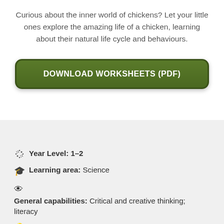Curious about the inner world of chickens? Let your little ones explore the amazing life of a chicken, learning about their natural life cycle and behaviours.
[Figure (other): Green rounded button with bold white text: DOWNLOAD WORKSHEETS (PDF)]
Year Level: 1–2
Learning area: Science
General capabilities: Critical and creative thinking; literacy
Tip: These worksheets include colour images to